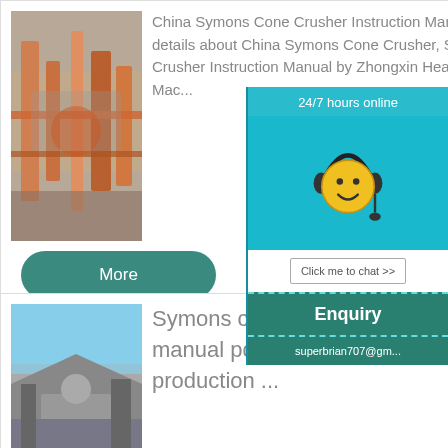[Figure (photo): Aerial view of industrial crusher/mining facility with orange machinery and pipework]
China Symons Cone Crusher Instruction Manual by Zhongxin Heavy Industry, Find details about China Symons Cone Crusher, Stone Crusher from Symons Cone Crusher Instruction Manual by Zhongxin Heavy Industry - Jiao... Heavy Industrial Mac...
More
[Figure (photo): Outdoor industrial crusher/quarry equipment with sky background]
Symons cone crusher manual pdf - Co... production ...
24/7 hours online
Click me to chat >>
Enquiry
superbrian707@gm...